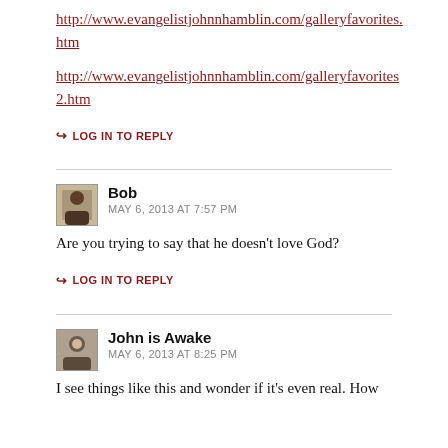http://www.evangelistjohnnhamblin.com/galleryfavorites.htm
http://www.evangelistjohnnhamblin.com/galleryfavorites2.htm
↪ LOG IN TO REPLY
Bob
MAY 6, 2013 AT 7:57 PM
Are you trying to say that he doesn't love God?
↪ LOG IN TO REPLY
John is Awake
MAY 6, 2013 AT 8:25 PM
I see things like this and wonder if it's even real. How